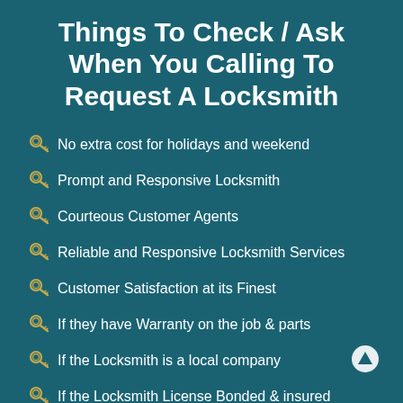Things To Check / Ask When You Calling To Request A Locksmith
No extra cost for holidays and weekend
Prompt and Responsive Locksmith
Courteous Customer Agents
Reliable and Responsive Locksmith Services
Customer Satisfaction at its Finest
If they have Warranty on the job & parts
If the Locksmith is a local company
If the Locksmith License Bonded & insured